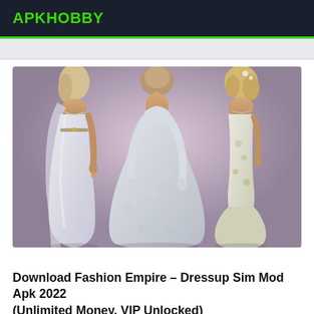APKHOBBY
[Figure (illustration): Three animated female figures wearing elegant white/light-colored dresses. Left figure in a flowing white gown with a jeweled belt, center figure in a large poofy white ball gown, right figure in a fitted mermaid-style dress with floral accents. Pink/lavender background.]
Download Fashion Empire – Dressup Sim Mod Apk 2022 (Unlimited Money, VIP Unlocked)